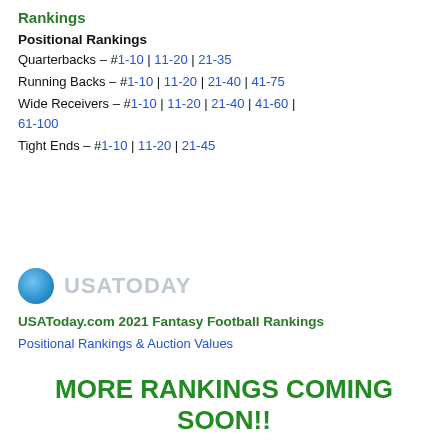Rankings
Positional Rankings
Quarterbacks – #1-10 | 11-20 | 21-35
Running Backs – #1-10 | 11-20 | 21-40 | 41-75
Wide Receivers – #1-10 | 11-20 | 21-40 | 41-60 | 61-100
Tight Ends – #1-10 | 11-20 | 21-45
[Figure (logo): USA TODAY logo with blue circle and gray text]
USAToday.com 2021 Fantasy Football Rankings
Positional Rankings & Auction Values
MORE RANKINGS COMING SOON!!